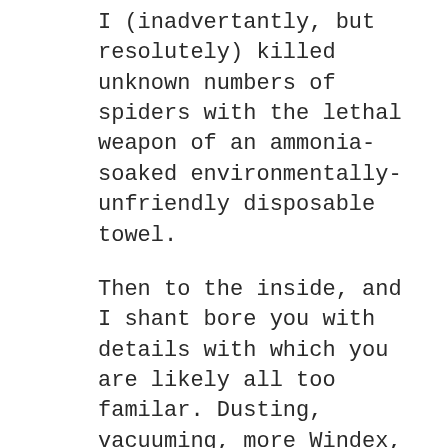I (inadvertantly, but resolutely) killed unknown numbers of spiders with the lethal weapon of an ammonia-soaked environmentally-unfriendly disposable towel.
Then to the inside, and I shant bore you with details with which you are likely all too familar. Dusting, vacuuming, more Windex, etc., etc., ad nauseam, et. al., i.e., e.g., and so on.
Here is the interesting thing, and the point of this diatribe (I DO have one). I did all of this with immense joy. I physically felt really good, which helps. And I usually find some modicum of joy in menial tasks such as these (the Buddhist part of my nature). Also, I receive an inordinate amount of pleasure in a crisp, clean, neat little house. But